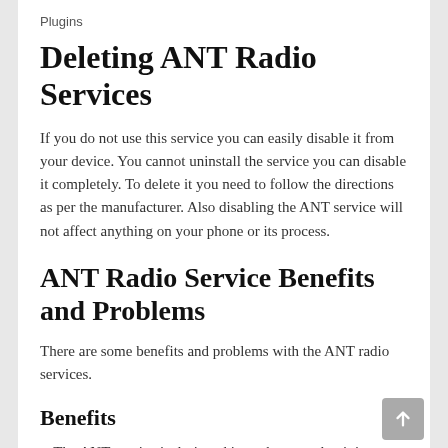Plugins
Deleting ANT Radio Services
If you do not use this service you can easily disable it from your device. You cannot uninstall the service you can disable it completely. To delete it you need to follow the directions as per the manufacturer. Also disabling the ANT service will not affect anything on your phone or its process.
ANT Radio Service Benefits and Problems
There are some benefits and problems with the ANT radio services.
Benefits
The ANT service is designed in such a way that it is compatible with all apps.